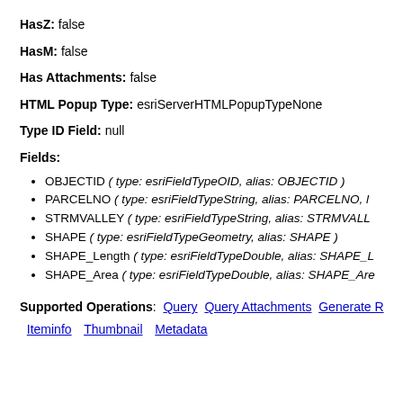HasZ: false
HasM: false
Has Attachments: false
HTML Popup Type: esriServerHTMLPopupTypeNone
Type ID Field: null
Fields:
OBJECTID ( type: esriFieldTypeOID, alias: OBJECTID )
PARCELNO ( type: esriFieldTypeString, alias: PARCELNO, l...
STRMVALLEY ( type: esriFieldTypeString, alias: STRMVALL...
SHAPE ( type: esriFieldTypeGeometry, alias: SHAPE )
SHAPE_Length ( type: esriFieldTypeDouble, alias: SHAPE_L...
SHAPE_Area ( type: esriFieldTypeDouble, alias: SHAPE_Are...
Supported Operations: Query  Query Attachments  Generate R...
Iteminfo  Thumbnail  Metadata